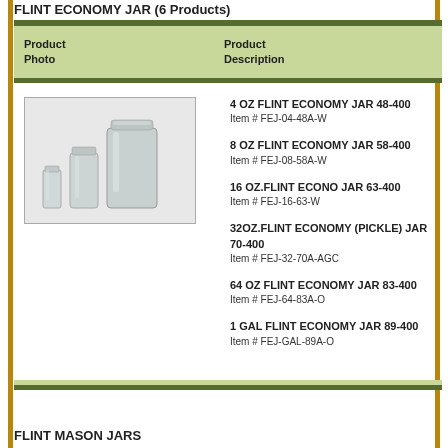FLINT ECONOMY JAR (6 Products)
| Product Photo | Product Description |
| --- | --- |
| [photo of flint economy jars] | 4 OZ FLINT ECONOMY JAR 48-400
Item # FEJ-04-48A-W

8 OZ FLINT ECONOMY JAR 58-400
Item # FEJ-08-58A-W

16 OZ.FLINT ECONO JAR 63-400
Item # FEJ-16-63-W

32OZ.FLINT ECONOMY (PICKLE) JAR 70-400
Item # FEJ-32-70A-AGC

64 OZ FLINT ECONOMY JAR 83-400
Item # FEJ-64-83A-O

1 GAL FLINT ECONOMY JAR 89-400
Item # FEJ-GAL-89A-O |
FLINT MASON JARS